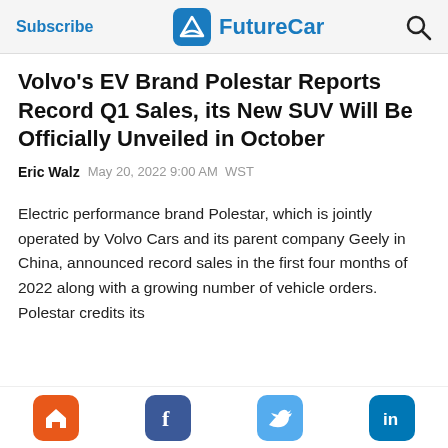Subscribe | FutureCar
Volvo's EV Brand Polestar Reports Record Q1 Sales, its New SUV Will Be Officially Unveiled in October
Eric Walz   May 20, 2022 9:00 AM  WST
Electric performance brand Polestar, which is jointly operated by Volvo Cars and its parent company Geely in China, announced record sales in the first four months of 2022 along with a growing number of vehicle orders. Polestar credits its
Home | Facebook | Twitter | LinkedIn